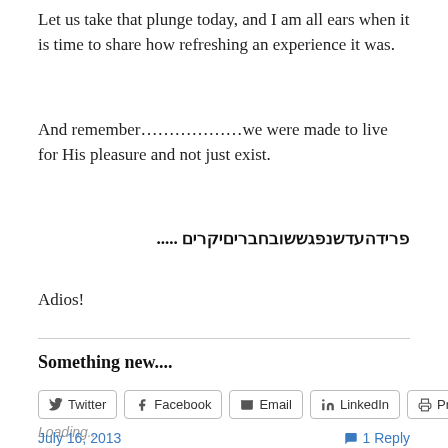Let us take that plunge today, and I am all ears when it is time to share how refreshing an experience it was.
And remember………………we were made to live for His pleasure and not just exist.
פריד​העדשנפגששובחבריםיקרים .....
Adios!
Something new....
Twitter  Facebook  Email  LinkedIn  Print
Loading...
July 16, 2013   1 Reply